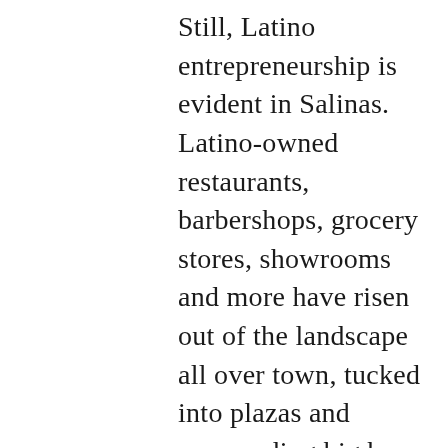Still, Latino entrepreneurship is evident in Salinas. Latino-owned restaurants, barbershops, grocery stores, showrooms and more have risen out of the landscape all over town, tucked into plazas and surrounding big box stores. Nearly 30% of all businesses in Monterey County, where Salinas rests, are owned by Hispanic or Latino people, per data provided by the Monterey County Workforce Development Board from the 2012 American Community Survey.